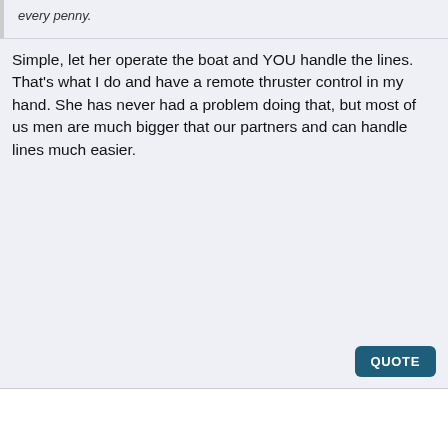every penny.
Simple, let her operate the boat and YOU handle the lines. That's what I do and have a remote thruster control in my hand. She has never had a problem doing that, but most of us men are much bigger that our partners and can handle lines much easier.